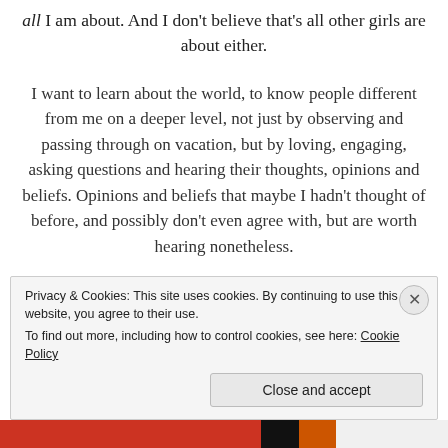all I am about. And I don't believe that's all other girls are about either.
I want to learn about the world, to know people different from me on a deeper level, not just by observing and passing through on vacation, but by loving, engaging, asking questions and hearing their thoughts, opinions and beliefs. Opinions and beliefs that maybe I hadn't thought of before, and possibly don't even agree with, but are worth hearing nonetheless.
So despite the fact that I haven't found someone to
Privacy & Cookies: This site uses cookies. By continuing to use this website, you agree to their use.
To find out more, including how to control cookies, see here: Cookie Policy